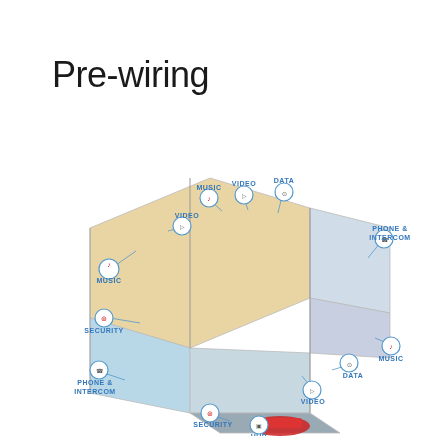Pre-wiring
[Figure (schematic): 3D isometric floor plan of a house showing pre-wiring layout with labeled connection points for: MUSIC, VIDEO, DATA, PHONE & INTERCOM, SECURITY, HUB in multiple rooms including living room, bedrooms, kitchen, and garage. Each label is connected to its location in the house with a thin line leading to a circular icon.]